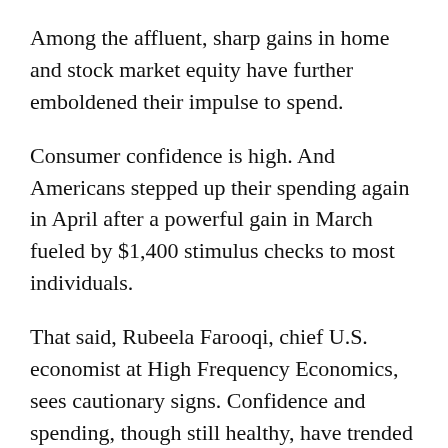Among the affluent, sharp gains in home and stock market equity have further emboldened their impulse to spend.
Consumer confidence is high. And Americans stepped up their spending again in April after a powerful gain in March fueled by $1,400 stimulus checks to most individuals.
That said, Rubeela Farooqi, chief U.S. economist at High Frequency Economics, sees cautionary signs. Confidence and spending, though still healthy, have trended lower. And retail sales were flat in April after having surged in March, suggesting that the positive effect of the stimulus checks might have faded. Similar trends occurred late last year after the effects of earlier federal stimulus money began to wear off.